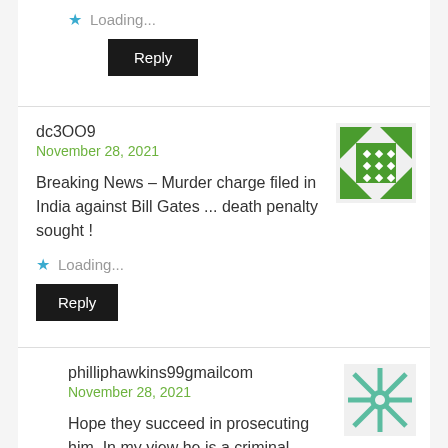Loading...
Reply
dc3OO9
November 28, 2021
[Figure (illustration): Green geometric avatar/icon with diamond and triangle pattern for user dc3OO9]
Breaking News – Murder charge filed in India against Bill Gates ... death penalty sought!
Loading...
Reply
philliphawkins99gmailcom
November 28, 2021
[Figure (illustration): Teal/mint geometric avatar/icon with asterisk-like pattern for user philliphawkins99gmailcom]
Hope they succeed in prosecuting him. In my view he is a criminal